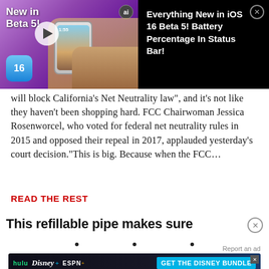[Figure (screenshot): Video thumbnail advertisement for 'Everything New in iOS 16 Beta 5! Battery Percentage In Status Bar!' showing iOS 16 logo, play button, time stamp 1:55, ai badge, and a dog photo on purple/pink background]
will block California's Net Neutrality law", and it's not like they haven't been shopping hard. FCC Chairwoman Jessica Rosenworcel, who voted for federal net neutrality rules in 2015 and opposed their repeal in 2017, applauded yesterday's court decision."This is big. Because when the FCC...
READ THE REST
[Figure (screenshot): Advertisement: 'This refillable pipe makes sure' with dots below and close button]
Report an ad
[Figure (screenshot): Disney Bundle advertisement featuring Hulu, Disney+, ESPN+ logos with 'GET THE DISNEY BUNDLE' button. Text: Incl. Hulu (ad-supported) or Hulu (No Ads). Access content from each service separately. ©2021 Disney and its related entities]